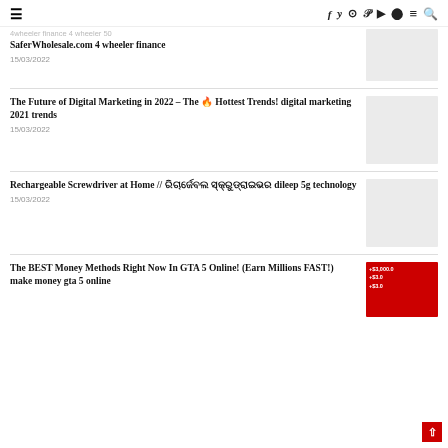☰  f  𝑦  ⊙  𝑝  ▶  ⬤  ≡  🔍
SaferWholesale.com 4 wheeler finance
15/03/2022
The Future of Digital Marketing in 2022 – The 🔥 Hottest Trends! digital marketing 2021 trends
15/03/2022
Rechargeable Screwdriver at Home // ରିଚାର୍ଜେବଲ ସ୍କ୍ରୁଡ୍ରାଇଭର dileep 5g technology
15/03/2022
The BEST Money Methods Right Now In GTA 5 Online! (Earn Millions FAST!) make money gta 5 online